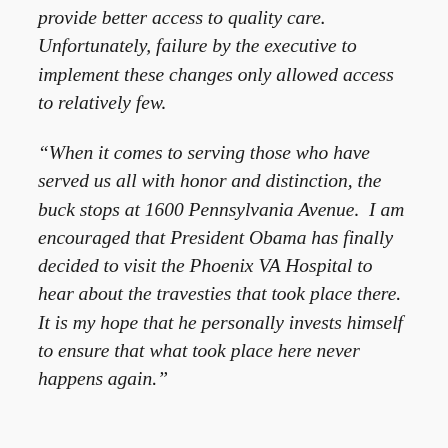provide better access to quality care. Unfortunately, failure by the executive to implement these changes only allowed access to relatively few.
“When it comes to serving those who have served us all with honor and distinction, the buck stops at 1600 Pennsylvania Avenue.  I am encouraged that President Obama has finally decided to visit the Phoenix VA Hospital to hear about the travesties that took place there.  It is my hope that he personally invests himself to ensure that what took place here never happens again.”